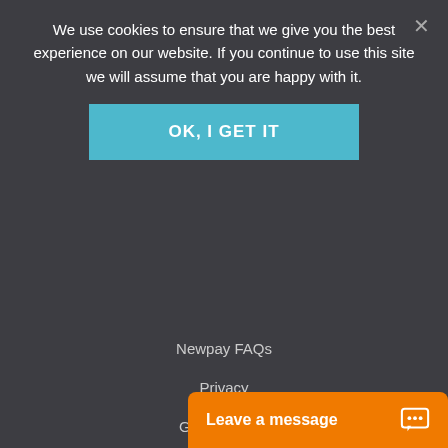We use cookies to ensure that we give you the best experience on our website. If you continue to use this site we will assume that you are happy with it.
OK, I GET IT
Newpay FAQs
Privacy
Gift Vouchers
Affiliate Program
Influencer Program
Refer a Friend Scheme
Leave a message